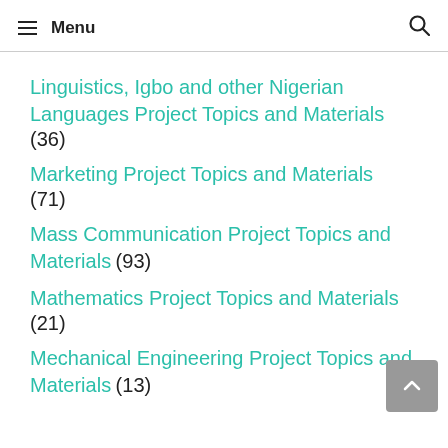Menu
Linguistics, Igbo and other Nigerian Languages Project Topics and Materials (36)
Marketing Project Topics and Materials (71)
Mass Communication Project Topics and Materials (93)
Mathematics Project Topics and Materials (21)
Mechanical Engineering Project Topics and Materials (13)